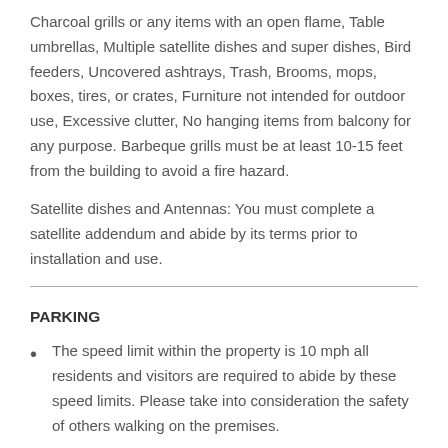Charcoal grills or any items with an open flame, Table umbrellas, Multiple satellite dishes and super dishes, Bird feeders, Uncovered ashtrays, Trash, Brooms, mops, boxes, tires, or crates, Furniture not intended for outdoor use, Excessive clutter, No hanging items from balcony for any purpose. Barbeque grills must be at least 10-15 feet from the building to avoid a fire hazard.
Satellite dishes and Antennas: You must complete a satellite addendum and abide by its terms prior to installation and use.
PARKING
The speed limit within the property is 10 mph all residents and visitors are required to abide by these speed limits. Please take into consideration the safety of others walking on the premises.